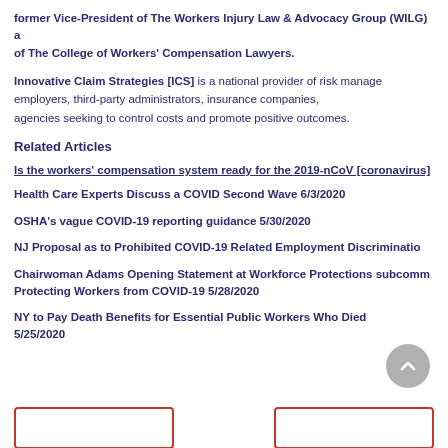former Vice-President of The Workers Injury Law & Advocacy Group (WILG) and of The College of Workers' Compensation Lawyers.
Innovative Claim Strategies [ICS] is a national provider of risk management services for employers, third-party administrators, insurance companies, and government agencies seeking to control costs and promote positive outcomes.
Related Articles
Is the workers' compensation system ready for the 2019-nCoV [coronavirus]
Health Care Experts Discuss a COVID Second Wave 6/3/2020
OSHA's vague COVID-19 reporting guidance 5/30/2020
NJ Proposal as to Prohibited COVID-19 Related Employment Discrimination
Chairwoman Adams Opening Statement at Workforce Protections subcommittee on Protecting Workers from COVID-19 5/28/2020
NY to Pay Death Benefits for Essential Public Workers Who Died from COVID-19 5/25/2020